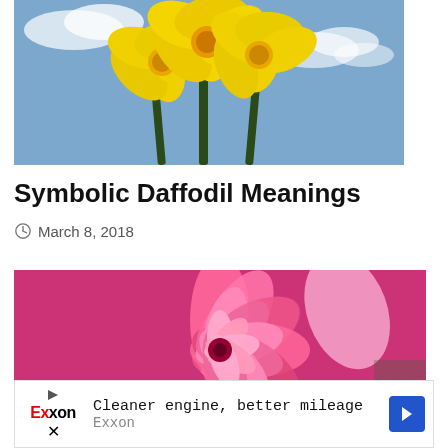[Figure (photo): Yellow daffodil flowers against a blue sky with white clouds]
Symbolic Daffodil Meanings
March 8, 2018
[Figure (photo): Close-up of a pink dahlia flower in full bloom]
[Figure (other): Advertisement: Exxon - Cleaner engine, better mileage]